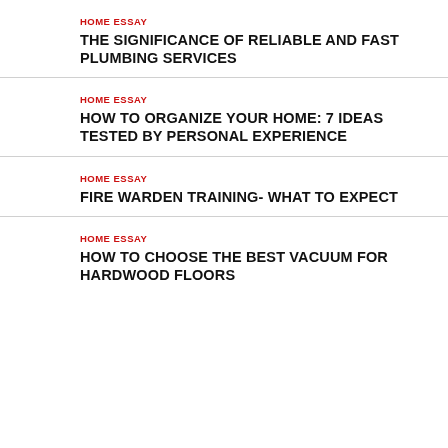HOME ESSAY
THE SIGNIFICANCE OF RELIABLE AND FAST PLUMBING SERVICES
HOME ESSAY
HOW TO ORGANIZE YOUR HOME: 7 IDEAS TESTED BY PERSONAL EXPERIENCE
HOME ESSAY
FIRE WARDEN TRAINING- WHAT TO EXPECT
HOME ESSAY
HOW TO CHOOSE THE BEST VACUUM FOR HARDWOOD FLOORS